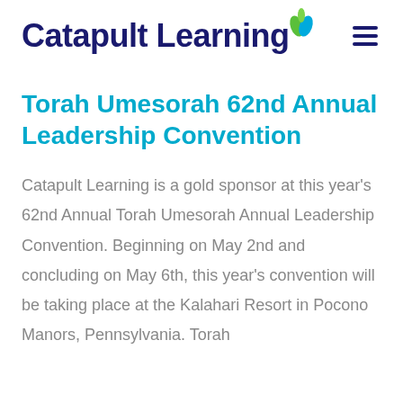[Figure (logo): Catapult Learning logo with dark navy text and a green/blue leaf icon above the letter n]
Torah Umesorah 62nd Annual Leadership Convention
Catapult Learning is a gold sponsor at this year's 62nd Annual Torah Umesorah Annual Leadership Convention. Beginning on May 2nd and concluding on May 6th, this year's convention will be taking place at the Kalahari Resort in Pocono Manors, Pennsylvania. Torah